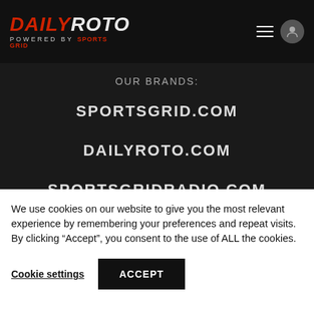DAILYROTO POWERED BY SPORTSGRID
OUR BRANDS:
SPORTSGRID.COM
DAILYROTO.COM
SPORTSGRIDRADIO.COM
SEE ALSO:
We use cookies on our website to give you the most relevant experience by remembering your preferences and repeat visits. By clicking “Accept”, you consent to the use of ALL the cookies.
Cookie settings   ACCEPT